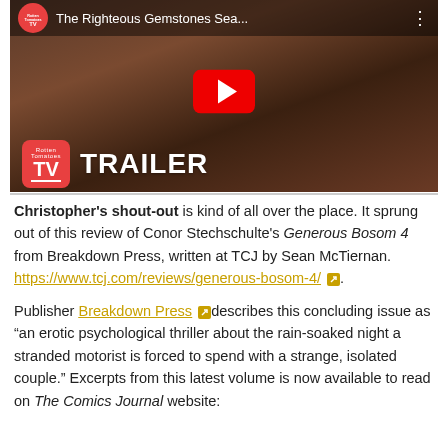[Figure (screenshot): YouTube video thumbnail showing Rotten Tomatoes TV trailer for 'The Righteous Gemstones Sea...' with a play button overlay and TRAILER label with Rotten Tomatoes TV logo in the lower left]
Christopher's shout-out is kind of all over the place. It sprung out of this review of Conor Stechschulte's Generous Bosom 4 from Breakdown Press, written at TCJ by Sean McTiernan. https://www.tcj.com/reviews/generous-bosom-4/
Publisher Breakdown Press describes this concluding issue as "an erotic psychological thriller about the rain-soaked night a stranded motorist is forced to spend with a strange, isolated couple." Excerpts from this latest volume is now available to read on The Comics Journal website: